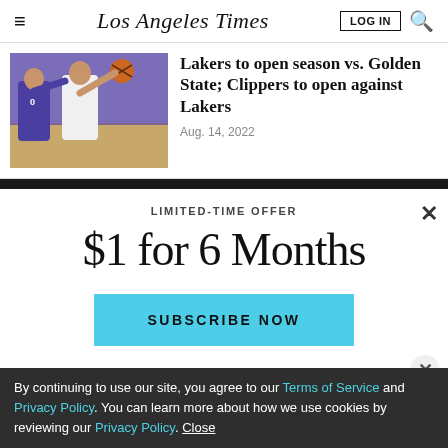Los Angeles Times
[Figure (photo): Two basketball players during a Lakers vs Clippers game, one wearing purple Lakers jersey #0, one wearing white Clippers jersey]
Lakers to open season vs. Golden State; Clippers to open against Lakers
Aug. 14, 2022
LIMITED-TIME OFFER
$1 for 6 Months
SUBSCRIBE NOW
By continuing to use our site, you agree to our Terms of Service and Privacy Policy. You can learn more about how we use cookies by reviewing our Privacy Policy. Close